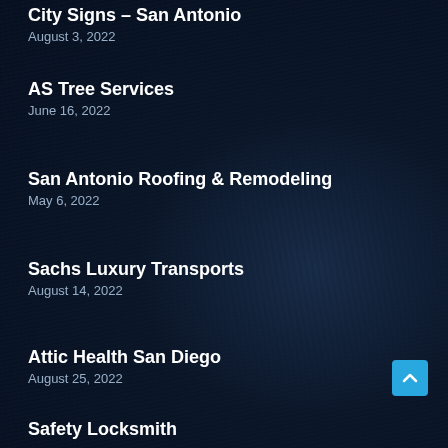City Signs – San Antonio
August 3, 2022
AS Tree Services
June 16, 2022
San Antonio Roofing & Remodeling
May 6, 2022
Sachs Luxury Transports
August 14, 2022
Attic Health San Diego
August 25, 2022
Safety Locksmith